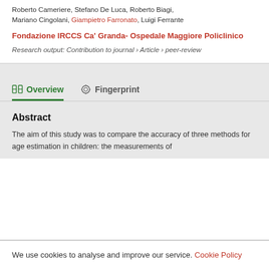Roberto Cameriere, Stefano De Luca, Roberto Biagi, Mariano Cingolani, Giampietro Farronato, Luigi Ferrante
Fondazione IRCCS Ca' Granda- Ospedale Maggiore Policlinico
Research output: Contribution to journal › Article › peer-review
Overview
Fingerprint
Abstract
The aim of this study was to compare the accuracy of three methods for age estimation in children: the measurements of
We use cookies to analyse and improve our service. Cookie Policy